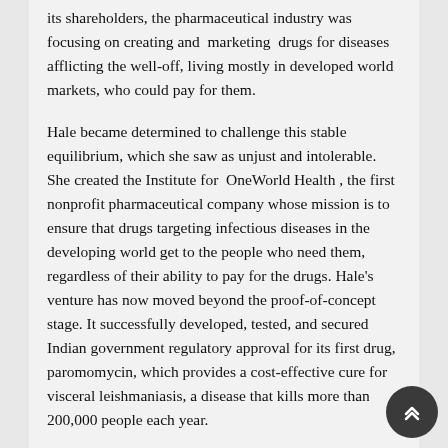its shareholders, the pharmaceutical industry was focusing on creating and marketing drugs for diseases afflicting the well-off, living mostly in developed world markets, who could pay for them.
Hale became determined to challenge this stable equilibrium, which she saw as unjust and intolerable. She created the Institute for OneWorld Health , the first nonprofit pharmaceutical company whose mission is to ensure that drugs targeting infectious diseases in the developing world get to the people who need them, regardless of their ability to pay for the drugs. Hale's venture has now moved beyond the proof-of-concept stage. It successfully developed, tested, and secured Indian government regulatory approval for its first drug, paromomycin, which provides a cost-effective cure for visceral leishmaniasis, a disease that kills more than 200,000 people each year.
Although it is too early to tell whether Hale will succeed in creating a new equilibrium that assures more equitable treatment of diseases afflicting the poor, she clearly meets the criteria of a social entrepreneur. First, Hale has identified a stable but unjust equilibrium in the pharmaceutical industry; second, she has seen and seized the opportunity to intervene, applying inspiration, creativity, direct action, and courage in launching a new venture to provide options for a